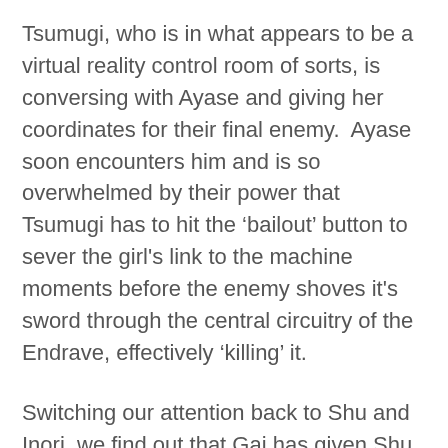Tsumugi, who is in what appears to be a virtual reality control room of sorts, is conversing with Ayase and giving her coordinates for their final enemy.  Ayase soon encounters him and is so overwhelmed by their power that Tsumugi has to hit the ‘bailout’ button to sever the girl's link to the machine moments before the enemy shoves it's sword through the central circuitry of the Endrave, effectively ‘killing’ it.
Switching our attention back to Shu and Inori, we find out that Gai has given Shu fifteen seconds to get Inori to safety before they launch their final attack on the remaining enemies.  Overwhelmed, Shu gathers up Inori